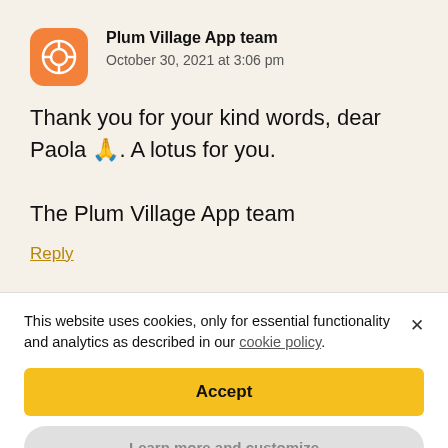Plum Village App team
October 30, 2021 at 3:06 pm
Thank you for your kind words, dear Paola 🙏. A lotus for you.

The Plum Village App team
Reply
This website uses cookies, only for essential functionality and analytics as described in our cookie policy.
Accept
Learn more and customize